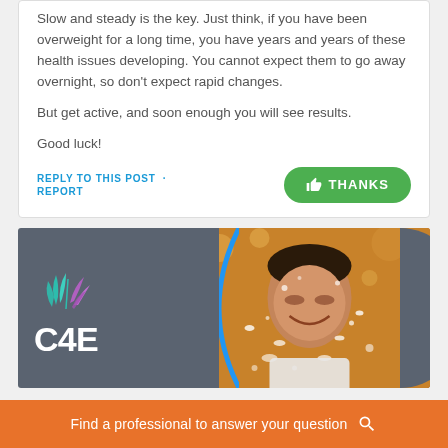Slow and steady is the key. Just think, if you have been overweight for a long time, you have years and years of these health issues developing. You cannot expect them to go away overnight, so don't expect rapid changes.
But get active, and soon enough you will see results.
Good luck!
REPLY TO THIS POST · REPORT
[Figure (logo): C4E advertisement banner with logo (leaf graphic and C4E text on dark grey background) alongside a photo of a child playing in water splash]
Find a professional to answer your question